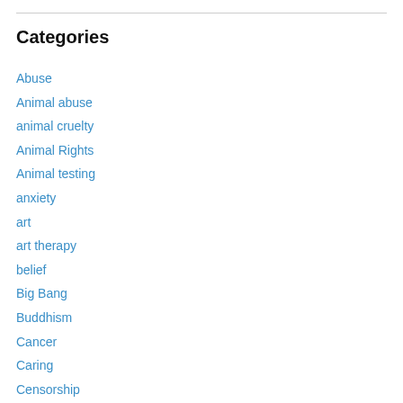Categories
Abuse
Animal abuse
animal cruelty
Animal Rights
Animal testing
anxiety
art
art therapy
belief
Big Bang
Buddhism
Cancer
Caring
Censorship
change
Child abuse
Comic Books